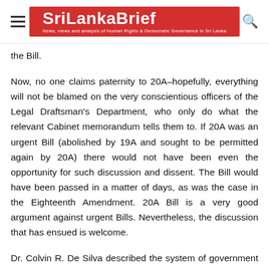SriLankaBrief — News, views and analysis of Human Rights & Democratic Governance in Sri Lanka
the Bill.
Now, no one claims paternity to 20A–hopefully, everything will not be blamed on the very conscientious officers of the Legal Draftsman's Department, who only do what the relevant Cabinet memorandum tells them to. If 20A was an urgent Bill (abolished by 19A and sought to be permitted again by 20A) there would not have been even the opportunity for such discussion and dissent. The Bill would have been passed in a matter of days, as was the case in the Eighteenth Amendment. 20A Bill is a very good argument against urgent Bills. Nevertheless, the discussion that has ensued is welcome.
Dr. Colvin R. De Silva described the system of government under the 1978 Constitution as a constitutional